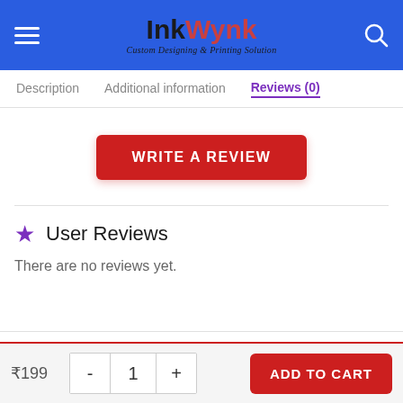InkWynk - Custom Designing & Printing Solution
Description | Additional information | Reviews (0)
WRITE A REVIEW
User Reviews
There are no reviews yet.
Be the first to review “Jolyne Cujoh Graphic
₹199  -  1  +  ADD TO CART